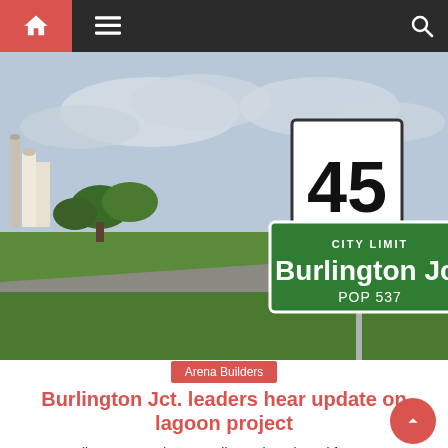Navigation bar with home, menu, and search icons
[Figure (photo): Road scene with a speed limit 45 sign and a green city limit sign reading 'CITY LIMIT Burlington Jct POP 537'. Green grass, trees, and grain silos visible in the background under a cloudy sky.]
Arena Builders
Burlington Jct. leaders hear update on lagoon project
Burlington Jct. City Council members heard from Jon